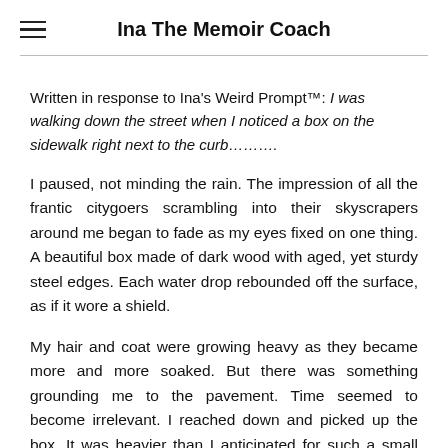Ina The Memoir Coach
Written in response to Ina's Weird Prompt™: I was walking down the street when I noticed a box on the sidewalk right next to the curb……….
I paused, not minding the rain. The impression of all the frantic citygoers scrambling into their skyscrapers around me began to fade as my eyes fixed on one thing. A beautiful box made of dark wood with aged, yet sturdy steel edges. Each water drop rebounded off the surface, as if it wore a shield.
My hair and coat were growing heavy as they became more and more soaked. But there was something grounding me to the pavement. Time seemed to become irrelevant. I reached down and picked up the box. It was heavier than I anticipated for such a small size. As I ran my fingers across